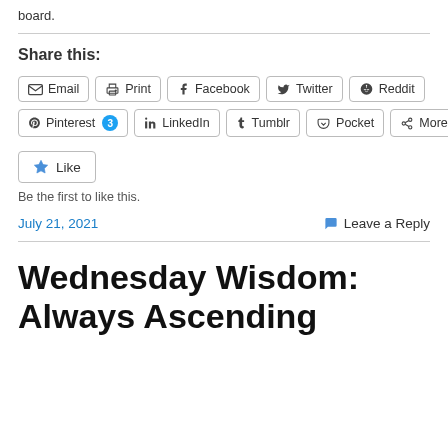board.
Share this:
Email  Print  Facebook  Twitter  Reddit
Pinterest 3  LinkedIn  Tumblr  Pocket  More
Like
Be the first to like this.
July 21, 2021
Leave a Reply
Wednesday Wisdom: Always Ascending